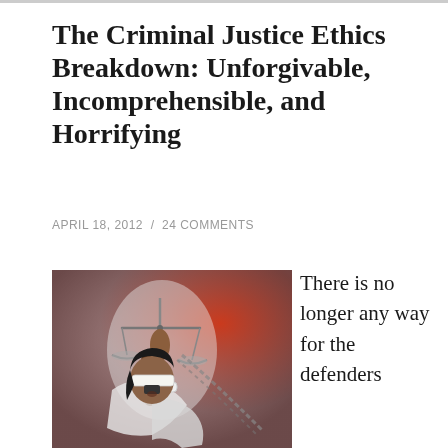The Criminal Justice Ethics Breakdown: Unforgivable, Incomprehensible, and Horrifying
APRIL 18, 2012  /  24 COMMENTS
[Figure (illustration): Illustration of Lady Justice blindfolded, holding scales, with a red and grey dramatic background]
There is no longer any way for the defenders